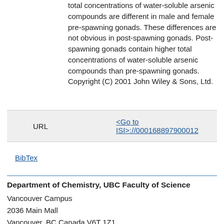total concentrations of water-soluble arsenic compounds are different in male and female pre-spawning gonads. These differences are not obvious in post-spawning gonads. Post-spawning gonads contain higher total concentrations of water-soluble arsenic compounds than pre-spawning gonads. Copyright (C) 2001 John Wiley & Sons, Ltd.
| URL |  |
| --- | --- |
| URL | <Go to ISI>://000168897900012 |
BibTex
Department of Chemistry, UBC Faculty of Science
Vancouver Campus
2036 Main Mall
Vancouver, BC Canada V6T 1Z1
Tel: 604 822 3266